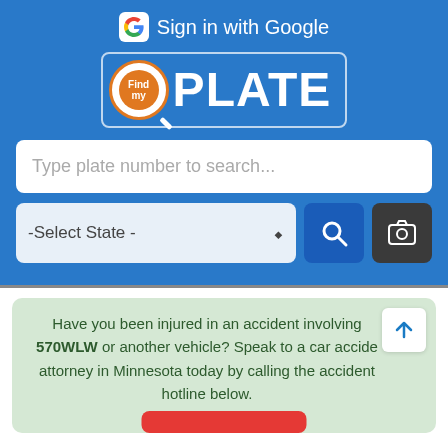Sign in with Google
[Figure (logo): FindMyPlate logo with orange magnifier circle and white PLATE text]
Type plate number to search...
-Select State -
Have you been injured in an accident involving 570WLW or another vehicle? Speak to a car accident attorney in Minnesota today by calling the accident hotline below.